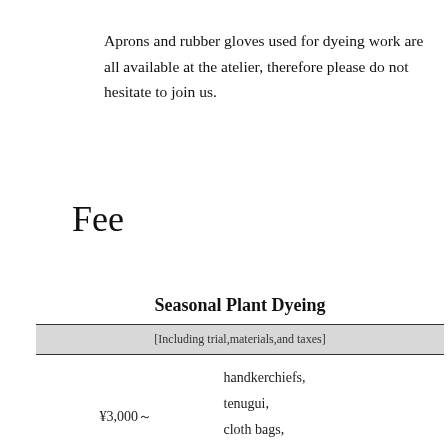Aprons and rubber gloves used for dyeing work are all available at the atelier, therefore please do not hesitate to join us.
Fee
Seasonal Plant Dyeing
| [Including trial,materials,and taxes] |
| --- |
| ¥3,000～ | handkerchiefs,
tenugui,
cloth bags,
and so on |